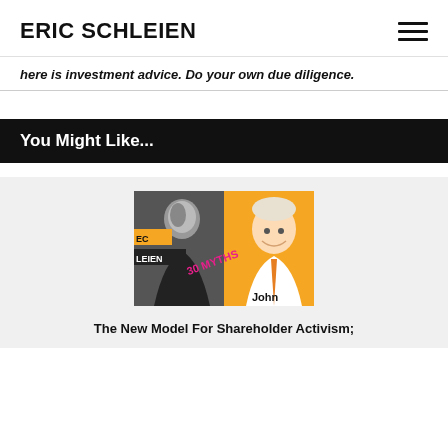ERIC SCHLEIEN
here is investment advice. Do your own due diligence.
You Might Like...
[Figure (photo): Podcast thumbnail image showing two people: a young man in black-and-white on the left with 'EC LEIEN' text overlay and '30 MYTHS' in pink graffiti text, and an older smiling man on an orange background on the right labeled 'John']
The New Model For Shareholder Activism;